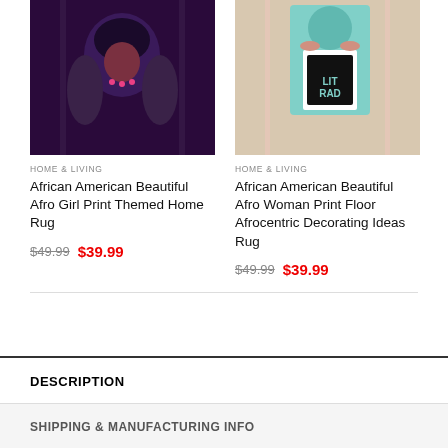[Figure (photo): Product photo of African American Beautiful Afro Girl Print Themed Home Rug displayed on floor in living room setting]
[Figure (photo): Product photo of African American Beautiful Afro Woman Print Floor Afrocentric Decorating Ideas Rug displayed on floor in living room setting]
HOME & LIVING
African American Beautiful Afro Girl Print Themed Home Rug
$49.99  $39.99
HOME & LIVING
African American Beautiful Afro Woman Print Floor Afrocentric Decorating Ideas Rug
$49.99  $39.99
DESCRIPTION
SHIPPING & MANUFACTURING INFO